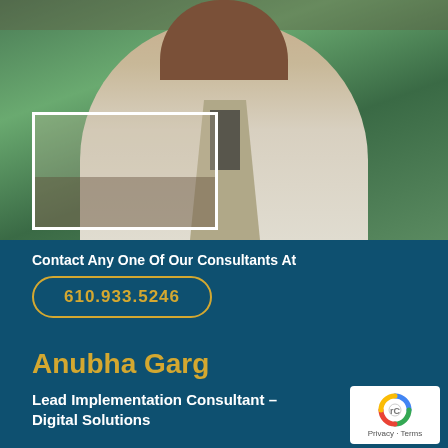[Figure (photo): Professional headshot of a woman in a light grey blazer, outdoors with green foliage in background. A white rectangle box is overlaid on the lower-left portion of the photo.]
Contact Any One Of Our Consultants At
610.933.5246
Anubha Garg
Lead Implementation Consultant – Digital Solutions